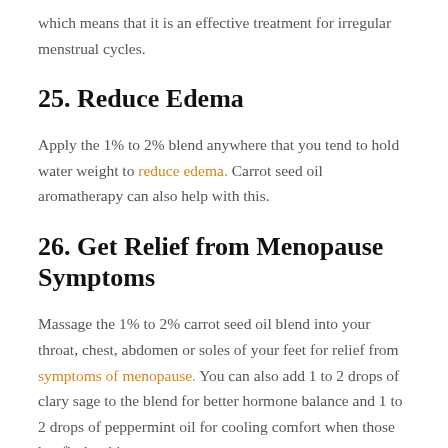which means that it is an effective treatment for irregular menstrual cycles.
25. Reduce Edema
Apply the 1% to 2% blend anywhere that you tend to hold water weight to reduce edema. Carrot seed oil aromatherapy can also help with this.
26. Get Relief from Menopause Symptoms
Massage the 1% to 2% carrot seed oil blend into your throat, chest, abdomen or soles of your feet for relief from symptoms of menopause. You can also add 1 to 2 drops of clary sage to the blend for better hormone balance and 1 to 2 drops of peppermint oil for cooling comfort when those hot flashes hit.
27. Treat Skin Rashes